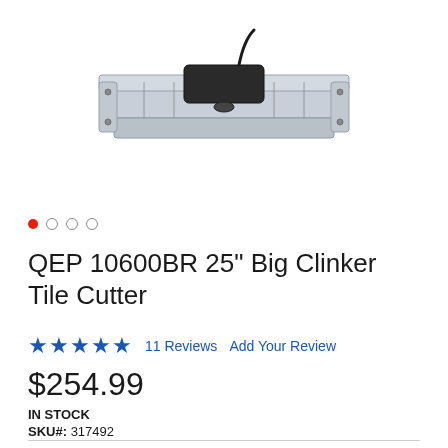[Figure (photo): Product photo of QEP 10600BR 25 inch Big Clinker Tile Cutter, showing a silver/gray metal manual tile cutter with a black scoring wheel and guide rail, on a white background.]
QEP 10600BR 25" Big Clinker Tile Cutter
★★★★★  11 Reviews  Add Your Review
$254.99
IN STOCK
SKU#:  317492
Qualifies for FREE Shipping